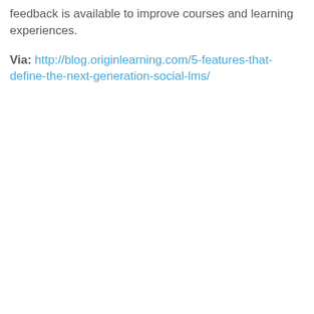feedback is available to improve courses and learning experiences.
Via: http://blog.originlearning.com/5-features-that-define-the-next-generation-social-lms/